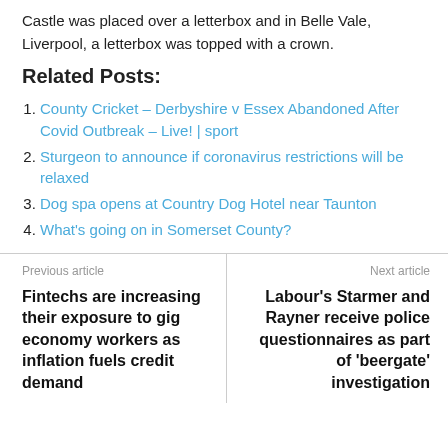Castle was placed over a letterbox and in Belle Vale, Liverpool, a letterbox was topped with a crown.
Related Posts:
County Cricket – Derbyshire v Essex Abandoned After Covid Outbreak – Live! | sport
Sturgeon to announce if coronavirus restrictions will be relaxed
Dog spa opens at Country Dog Hotel near Taunton
What's going on in Somerset County?
Previous article
Fintechs are increasing their exposure to gig economy workers as inflation fuels credit demand
Next article
Labour's Starmer and Rayner receive police questionnaires as part of 'beergate' investigation